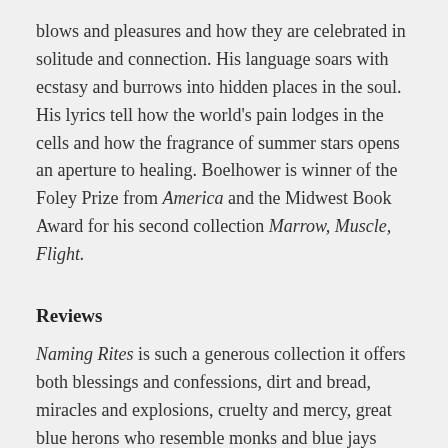blows and pleasures and how they are celebrated in solitude and connection. His language soars with ecstasy and burrows into hidden places in the soul. His lyrics tell how the world's pain lodges in the cells and how the fragrance of summer stars opens an aperture to healing. Boelhower is winner of the Foley Prize from America and the Midwest Book Award for his second collection Marrow, Muscle, Flight.
Reviews
Naming Rites is such a generous collection it offers both blessings and confessions, dirt and bread, miracles and explosions, cruelty and mercy, great blue herons who resemble monks and blue jays clowning around, a lover's tender touch and the horrors of the nightly news. In second grade, Gary Boelhower admits, he won 'the glow-in-the-dark